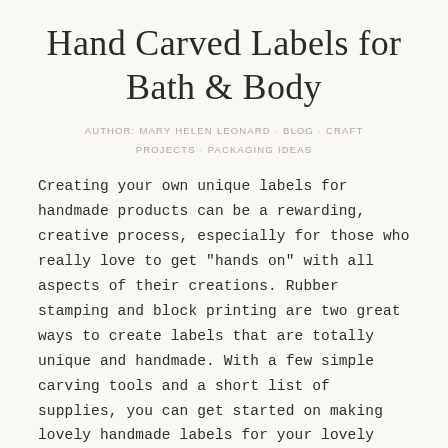Hand Carved Labels for Bath & Body
AUTHOR: MARY HELEN LEONARD · BLOG · CRAFT PROJECTS · PACKAGING IDEAS
Creating your own unique labels for handmade products can be a rewarding, creative process, especially for those who really love to get "hands on" with all aspects of their creations. Rubber stamping and block printing are two great ways to create labels that are totally unique and handmade. With a few simple carving tools and a short list of supplies, you can get started on making lovely handmade labels for your lovely handmade bath and body